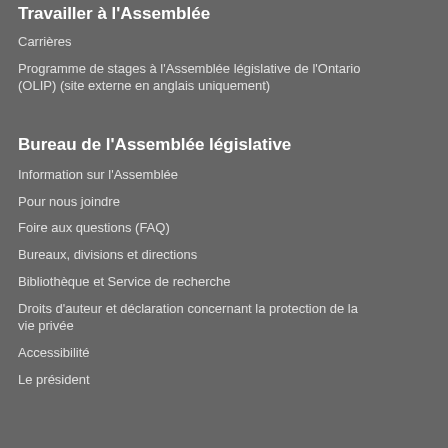Travailler à l'Assemblée
Carrières
Programme de stages à l'Assemblée législative de l'Ontario (OLIP) (site externe en anglais uniquement)
Bureau de l'Assemblée législative
Information sur l'Assemblée
Pour nous joindre
Foire aux questions (FAQ)
Bureaux, divisions et directions
Bibliothèque et Service de recherche
Droits d'auteur et déclaration concernant la protection de la vie privée
Accessibilité
Le président